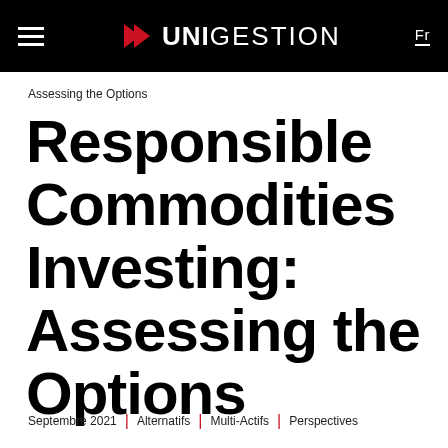UNIGESTION | Fr
Assessing the Options
Responsible Commodities Investing: Assessing the Options
Septembre 2021 | Alternatifs | Multi-Actifs | Perspectives